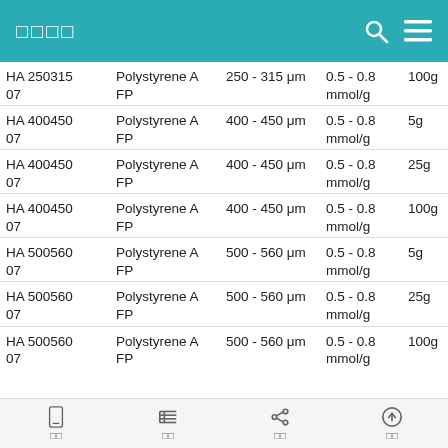□□□□
|  |  |  |  |  |
| --- | --- | --- | --- | --- |
| HA 250315
07 | Polystyrene A
FP | 250 - 315 μm | 0.5 - 0.8
mmol/g | 100g |
| HA 400450
07 | Polystyrene A
FP | 400 - 450 μm | 0.5 - 0.8
mmol/g | 5g |
| HA 400450
07 | Polystyrene A
FP | 400 - 450 μm | 0.5 - 0.8
mmol/g | 25g |
| HA 400450
07 | Polystyrene A
FP | 400 - 450 μm | 0.5 - 0.8
mmol/g | 100g |
| HA 500560
07 | Polystyrene A
FP | 500 - 560 μm | 0.5 - 0.8
mmol/g | 5g |
| HA 500560
07 | Polystyrene A
FP | 500 - 560 μm | 0.5 - 0.8
mmol/g | 25g |
| HA 500560
07 | Polystyrene A
FP | 500 - 560 μm | 0.5 - 0.8
mmol/g | 100g |
□□  □□  □□  □□